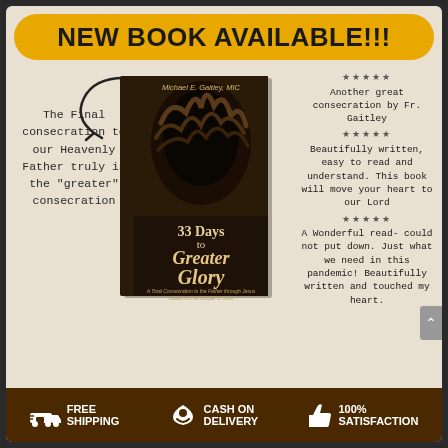NEW BOOK AVAILABLE!!!
[Figure (photo): Book cover of '33 Days to Greater Glory' by Michael E. Gaitley, MIC showing a crown of thorns on a dark background]
The Final consecration to our Heavenly Father truly is the "greater" consecration
★★★★★
Another great consecration by Fr. Gaitley
★★★★★
Beautifully written, easy to read and understand. This book will move your heart to our Lord
★★★★★
A Wonderful read- could not put down. Just what we need in this pandemic! Beautifully written and touched my heart.
FREE SHIPPING
CASH ON DELIVERY
100% SATISFACTION